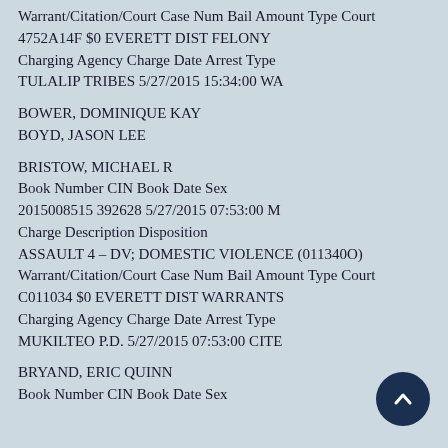Warrant/Citation/Court Case Num Bail Amount Type Court
4752A14F $0 EVERETT DIST FELONY
Charging Agency Charge Date Arrest Type
TULALIP TRIBES 5/27/2015 15:34:00 WA
BOWER, DOMINIQUE KAY
BOYD, JASON LEE
BRISTOW, MICHAEL R
Book Number CIN Book Date Sex
2015008515 392628 5/27/2015 07:53:00 M
Charge Description Disposition
ASSAULT 4 – DV; DOMESTIC VIOLENCE (011340O)
Warrant/Citation/Court Case Num Bail Amount Type Court
C011034 $0 EVERETT DIST WARRANTS
Charging Agency Charge Date Arrest Type
MUKILTEO P.D. 5/27/2015 07:53:00 CITE
BRYAND, ERIC QUINN
Book Number CIN Book Date Sex